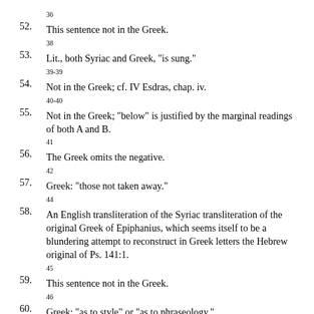52. [36] This sentence not in the Greek.
53. [38] Lit., both Syriac and Greek, "is sung."
54. [39-39] Not in the Greek; cf. IV Esdras, chap. iv.
55. [40-40] Not in the Greek; "below" is justified by the marginal readings of both A and B.
56. [41] The Greek omits the negative.
57. [42] Greek: "those not taken away."
58. [44] An English transliteration of the Syriac transliteration of the original Greek of Epiphanius, which seems itself to be a blundering attempt to reconstruct in Greek letters the Hebrew original of Ps. 141:1.
59. [45] This sentence not in the Greek.
60. [46] Greek: "as to style" or "as to phraseology."
61. [47] Greek: "is said to be."
62. [48] Cf. § 3.
63. [49] The Greek here has a wordplay impossible in the Syriac. Just as the sword is "the destructive one," in the sense of killing, so the obelus indicates a word that...